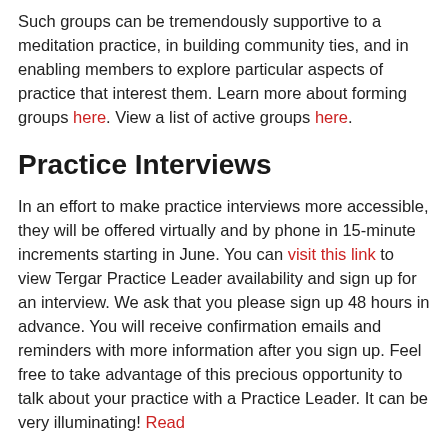Such groups can be tremendously supportive to a meditation practice, in building community ties, and in enabling members to explore particular aspects of practice that interest them. Learn more about forming groups here. View a list of active groups here.
Practice Interviews
In an effort to make practice interviews more accessible, they will be offered virtually and by phone in 15-minute increments starting in June. You can visit this link to view Tergar Practice Leader availability and sign up for an interview. We ask that you please sign up 48 hours in advance. You will receive confirmation emails and reminders with more information after you sign up. Feel free to take advantage of this precious opportunity to talk about your practice with a Practice Leader. It can be very illuminating! Read